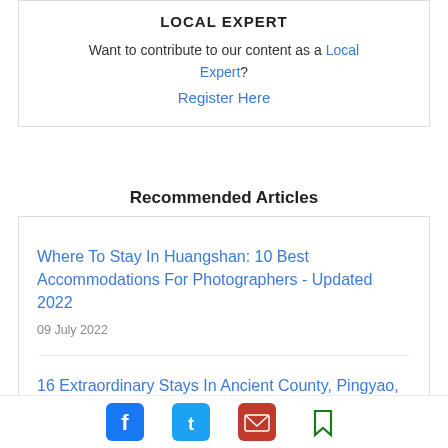LOCAL EXPERT
Want to contribute to our content as a Local Expert? Register Here
Recommended Articles
Where To Stay In Huangshan: 10 Best Accommodations For Photographers - Updated 2022
09 July 2022
16 Extraordinary Stays In Ancient County, Pingyao, Chi...